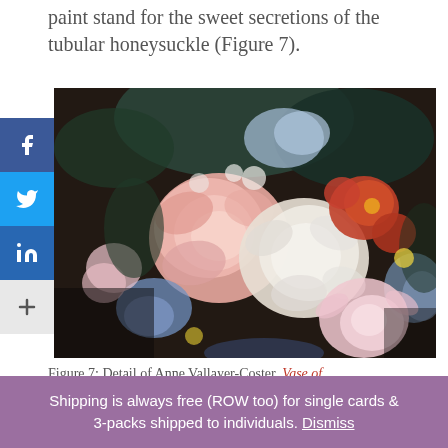paint stand for the sweet secretions of the tubular honeysuckle (Figure 7).
[Figure (photo): Detail of a floral still life painting by Anne Vallayer-Coster showing a vase of colorful flowers including pink, red, white, and blue blooms against a dark background.]
Figure 7: Detail of Anne Vallayer-Coster, Vase of
Shipping is always free (ROW too) for single cards & 3-packs shipped to individuals. Dismiss